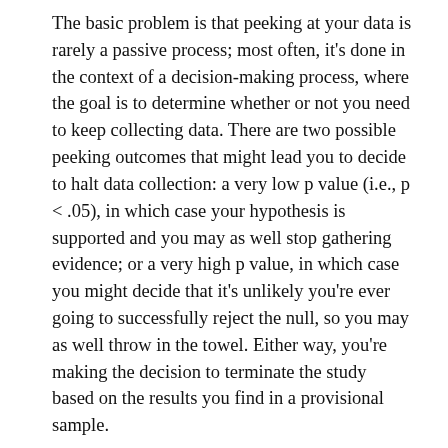The basic problem is that peeking at your data is rarely a passive process; most often, it's done in the context of a decision-making process, where the goal is to determine whether or not you need to keep collecting data. There are two possible peeking outcomes that might lead you to decide to halt data collection: a very low p value (i.e., p < .05), in which case your hypothesis is supported and you may as well stop gathering evidence; or a very high p value, in which case you might decide that it's unlikely you're ever going to successfully reject the null, so you may as well throw in the towel. Either way, you're making the decision to terminate the study based on the results you find in a provisional sample.
A complementary situation, which also happens not infrequently, occurs when you collect data from exactly as many participants as you decided ahead of